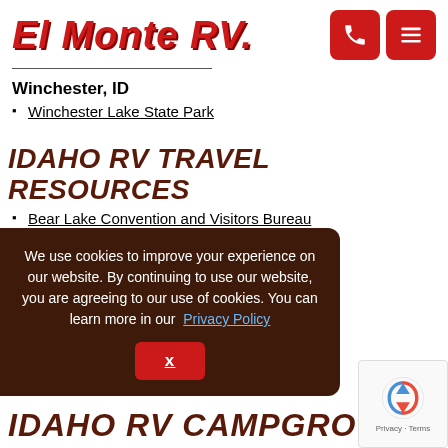[Figure (logo): El Monte RV logo in red bold italic text with registered trademark symbol, accompanied by phone and menu icon buttons in red]
Winchester, ID
Winchester Lake State Park
IDAHO RV TRAVEL RESOURCES
Bear Lake Convention and Visitors Bureau
Boise Convention & Visitors Bureau
Idaho Falls Convention and Visitors Bureau
Idaho National Park Service Properties
Idaho RV Dump Stations
Idaho State Parks and Recreation
We use cookies to improve your experience on our website. By continuing to use our website, you are agreeing to our use of cookies. You can learn more in our Privacy Policy
IDAHO RV CAMPGROUNDS MAP